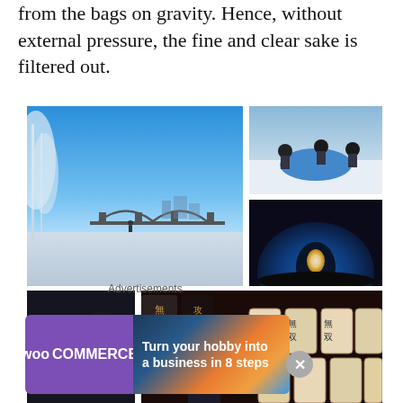from the bags on gravity. Hence, without external pressure, the fine and clear sake is filtered out.
[Figure (photo): Collage of 5 photos: large winter scene with frozen river and bridge with frost-covered trees (top left); workers shoveling snow or working outdoors in winter (top right upper); blue illuminated igloo or ice dome entrance (top right lower); two workers handling wooden sake pressing equipment in dark setting (bottom left); sake brewery worker wearing headband leaning over stacked sake barrels with Japanese characters (bottom right).]
Advertisements
[Figure (other): WooCommerce advertisement banner: purple left side with WooCommerce logo, gradient right side with text 'Turn your hobby into a business in 8 steps']